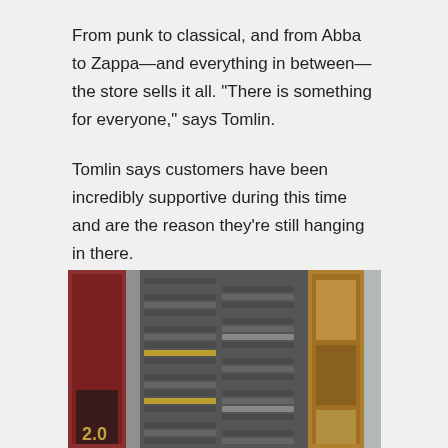From punk to classical, and from Abba to Zappa—and everything in between—the store sells it all. “There is something for everyone,” says Tomlin.
Tomlin says customers have been incredibly supportive during this time and are the reason they’re still hanging in there.
“Our customers were a huge support during our initial three-month shutdown due to COVID, and our flip videos helped us make it through the rough part,” he says.
[Figure (photo): Photo of shelves stocked with cassette tapes displayed in columns, with colorful album covers visible on the left and a decorative item on the right.]